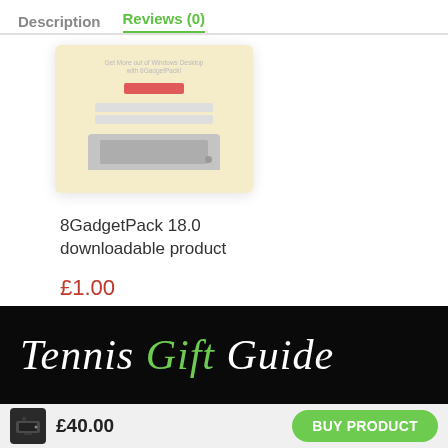Description   Reviews (0)
[Figure (screenshot): Product thumbnail showing a yellow-background landing page with a device mockup]
8GadgetPack 18.0 downloadable product
£1.00
[Figure (photo): Tennis Gift Guide banner text on black background]
£40.00
BUY PRODUCT